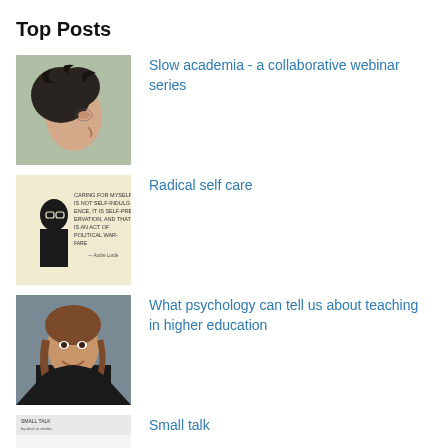Top Posts
Slow academia - a collaborative webinar series
Radical self care
What psychology can tell us about teaching in higher education
Small talk